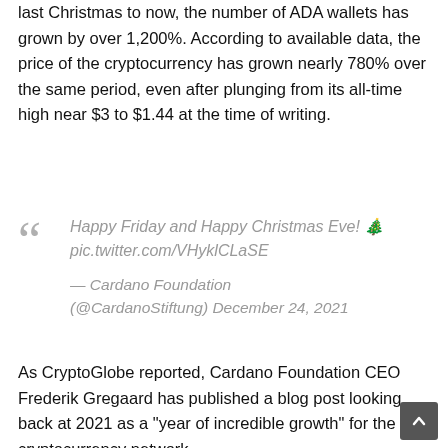last Christmas to now, the number of ADA wallets has grown by over 1,200%. According to available data, the price of the cryptocurrency has grown nearly 780% over the same period, even after plunging from its all-time high near $3 to $1.44 at the time of writing.
“ Happy Friday and Happy Christmas Eve! 🎄 pic.twitter.com/VHyklCLaSE
— Cardano Foundation (@CardanoStiftung) December 24, 2021
As CryptoGlobe reported, Cardano Foundation CEO Frederik Gregaard has published a blog post looking back at 2021 as a “year of incredible growth” for the cryptocurrency network